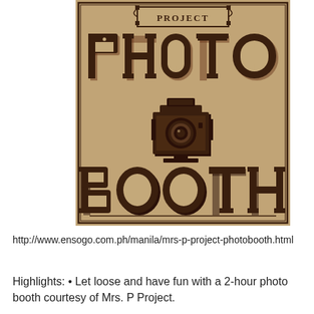[Figure (illustration): Vintage photo booth sign with kraft paper background. Shows 'PROJECT' in a decorative bordered label at top, large decorative slab-serif text 'PHOTO' in dark brown, a vintage bellows camera illustration in the center, and large decorative slab-serif text 'BOOTH' at the bottom. All text and illustration in dark brown on tan/kraft background.]
http://www.ensogo.com.ph/manila/mrs-p-project-photobooth.html
Highlights: • Let loose and have fun with a 2-hour photo booth courtesy of Mrs. P Project.